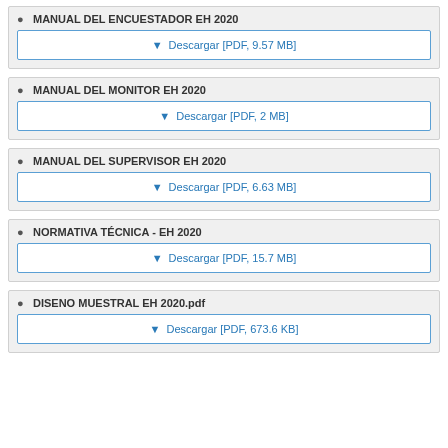MANUAL DEL ENCUESTADOR EH 2020
Descargar [PDF, 9.57 MB]
MANUAL DEL MONITOR EH 2020
Descargar [PDF, 2 MB]
MANUAL DEL SUPERVISOR EH 2020
Descargar [PDF, 6.63 MB]
NORMATIVA TÉCNICA - EH 2020
Descargar [PDF, 15.7 MB]
DISENO MUESTRAL EH 2020.pdf
Descargar [PDF, 673.6 KB]